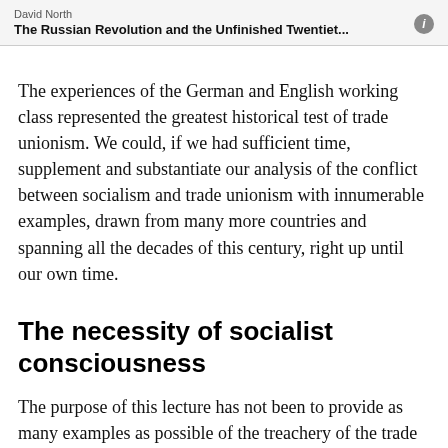David North
The Russian Revolution and the Unfinished Twentiet...
The experiences of the German and English working class represented the greatest historical test of trade unionism. We could, if we had sufficient time, supplement and substantiate our analysis of the conflict between socialism and trade unionism with innumerable examples, drawn from many more countries and spanning all the decades of this century, right up until our own time.
The necessity of socialist consciousness
The purpose of this lecture has not been to provide as many examples as possible of the treachery of the trade